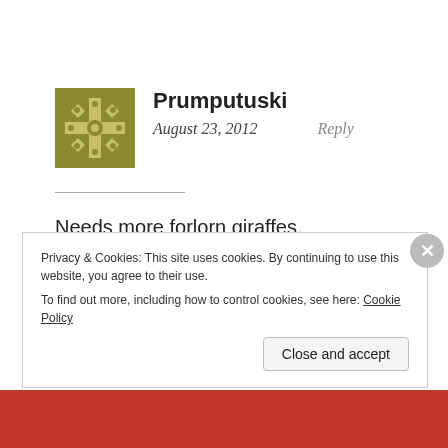[Figure (illustration): Geometric snowflake/cross pattern avatar in olive/yellow-green color]
Prumputuski
August 23, 2012   Reply
Needs more forlorn giraffes.
Privacy & Cookies: This site uses cookies. By continuing to use this website, you agree to their use.
To find out more, including how to control cookies, see here: Cookie Policy
Close and accept